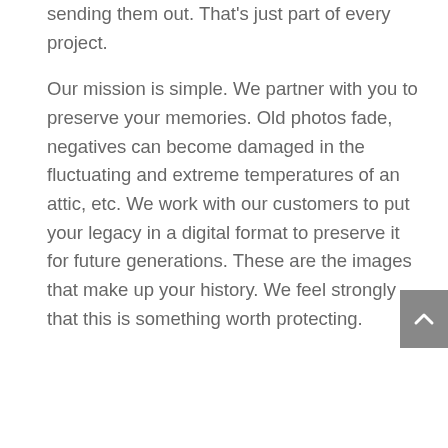sending them out. That's just part of every project.
Our mission is simple. We partner with you to preserve your memories. Old photos fade, negatives can become damaged in the fluctuating and extreme temperatures of an attic, etc. We work with our customers to put your legacy in a digital format to preserve it for future generations. These are the images that make up your history. We feel strongly that this is something worth protecting.